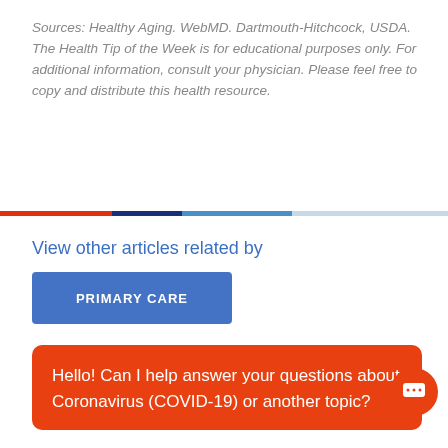Sources: Healthy Aging. WebMD. Dartmouth-Hitchcock, USDA. The Health Tip of the Week is for educational purposes only.  For additional information, consult your physician. Please feel free to copy and distribute this health resource.
[Figure (other): Horizontal color bar divider: orange on left, dark blue in center-left, light blue in center-right, light gray on right]
View other articles related by
PRIMARY CARE
Hello! Can I help answer your questions about Coronavirus (COVID-19) or another topic?